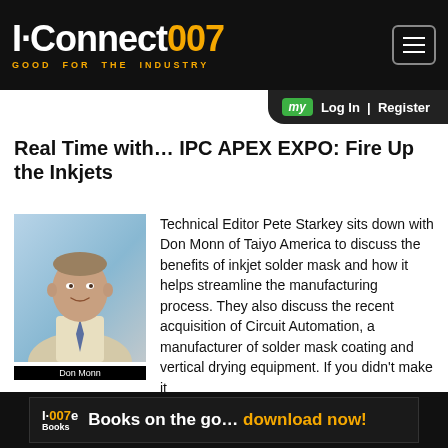I-Connect007 GOOD FOR THE INDUSTRY
Real Time with… IPC APEX EXPO: Fire Up the Inkjets
[Figure (photo): Headshot photo of Don Monn, a middle-aged man in a light shirt and tie, against a light blue background]
Technical Editor Pete Starkey sits down with Don Monn of Taiyo America to discuss the benefits of inkjet solder mask and how it helps streamline the manufacturing process. They also discuss the recent acquisition of Circuit Automation, a manufacturer of solder mask coating and vertical drying equipment. If you didn't make it
I-007e Books | Books on the go... download now!